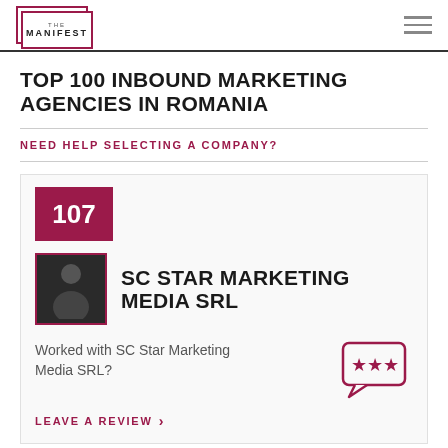THE MANIFEST
TOP 100 INBOUND MARKETING AGENCIES IN ROMANIA
NEED HELP SELECTING A COMPANY?
107
[Figure (photo): Company profile photo showing a person silhouette]
SC STAR MARKETING MEDIA SRL
Worked with SC Star Marketing Media SRL?
[Figure (other): Speech bubble icon with three stars]
LEAVE A REVIEW >